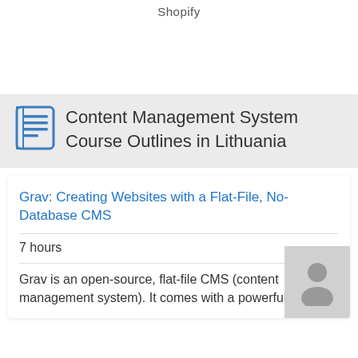Shopify
Content Management System Course Outlines in Lithuania
Grav: Creating Websites with a Flat-File, No-Database CMS
7 hours
Grav is an open-source, flat-file CMS (content management system). It comes with a powerful